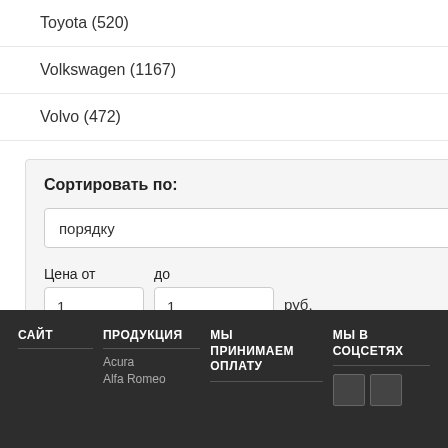Toyota (520)
Volkswagen (1167)
Volvo (472)
Сортировать по:
порядку
Цена от
до
1
1
руб.
Фильтровать
Сбросить
САЙТ
ПРОДУКЦИЯ
МЫ ПРИНИМАЕМ ОПЛАТУ
МЫ В СОЦСЕТЯХ
Acura
Alfa Romeo